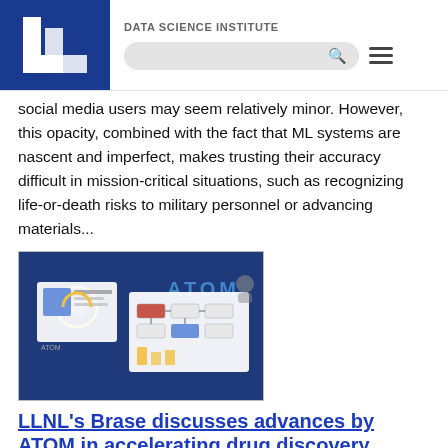DATA SCIENCE INSTITUTE
social media users may seem relatively minor. However, this opacity, combined with the fact that ML systems are nascent and imperfect, makes trusting their accuracy difficult in mission-critical situations, such as recognizing life-or-death risks to military personnel or advancing materials...
[Figure (screenshot): Screenshot of ATOM presentation or interface showing data science diagrams and charts on a blue background]
LLNL's Brase discusses advances by ATOM in accelerating drug discovery pipeline
June 7, 2022 - The private-public Accelerating Therapeutic Opportunities in Medicine (ATOM) consortium is showing